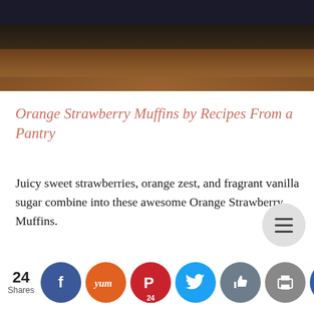[Figure (photo): Top portion of a food photo showing muffins on a dark wooden board with a navy/dark background, partially cropped]
Orange Strawberry Muffins by Recipes From a Pantry
Juicy sweet strawberries, orange zest, and fragrant vanilla sugar combine into these awesome Orange Strawberry Muffins.
[Figure (infographic): Social sharing bar with 24 Shares count, Facebook, Yummly, Pinterest (24), Twitter, Like, Print, and Crown buttons, plus a hamburger menu button]